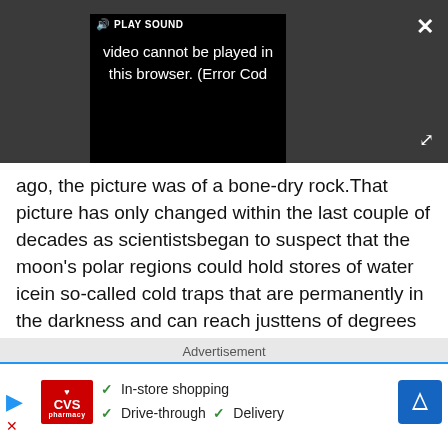[Figure (screenshot): Video player UI showing 'PLAY SOUND' button and error message: 'Video cannot be played in this browser. (Error Cod' with close and expand buttons on dark background.]
ago, the picture was of a bone-dry rock.That picture has only changed within the last couple of decades as scientistsbegan to suspect that the moon's polar regions could hold stores of water icein so-called cold traps that are permanently in the darkness and can reach justtens of degrees above absolute zero, Burns said.
Advertisement
[Figure (screenshot): CVS Pharmacy advertisement banner showing checkmarks for 'In-store shopping', 'Drive-through', and 'Delivery' with CVS logo and navigation icon.]